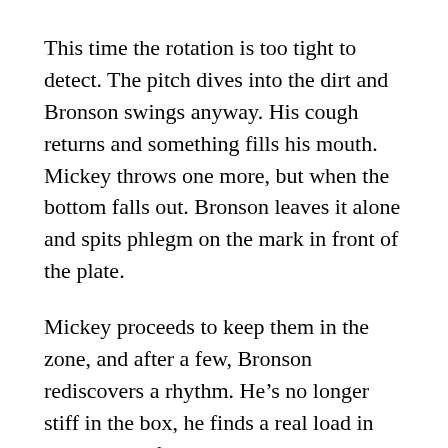This time the rotation is too tight to detect. The pitch dives into the dirt and Bronson swings anyway. His cough returns and something fills his mouth. Mickey throws one more, but when the bottom falls out. Bronson leaves it alone and spits phlegm on the mark in front of the plate.
Mickey proceeds to keep them in the zone, and after a few, Bronson rediscovers a rhythm. He's no longer stiff in the box, he finds a real load in his swing. After sending one deep into the right-center gap, Bronson rocks back and forth at the plate. He sways with confidence. He shakes his shoulders loose. Mickey throws another, flat and down the middle, meant to blow right by, and Bronson sends it to centerfield, into the side of